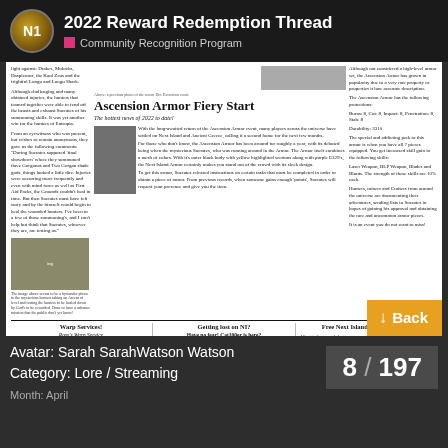2022 Reward Redemption Thread — Community Recognition Program
[Figure (screenshot): Screenshot of a game community newsletter page showing an article titled 'Ascension Armor Fiery Start', with images of in-game armor and characters, and advertisement sections at the bottom for Warp Services, Getting lost on NI, and Free Next Island Entertainment.]
Ascension Armor Fiery Start
The hottest news of 2022 to date!
With the long-awaited return of the Ascension Armor event, many players across the universe have settled on Next Island and Ancient Greece, calling it a second home for the next few months.
For those who don't know, the Ascension Armor has been around for roughly a year, with its debuted being when the mysterious Socrates, who was running around in the Armor. The Armor itself combines a mesh of colors. With it's outer black body with yellow highlighted sections along with purple E329's, the Next Island Armor certainly makes you stand out of the crowd with its sleek design.
To get this armor, Socrates released instructions on certain tasks that must be completed in order to obtain a piece of armor. From previous records, when someone gains enough 'points', Socrates will request your presence and give you the item.
Although not considered a high-level armor set, the Ascension Armor has grown in popularity due to a very rare property or properties it has: accurate description.
The Ascension Armor has the following protections:
Burns: 8, Cut: 8, Impact: 8, Penetration: 8, Stab: 8
Durability: 3310
The special and addicting perk to this armor is when you have all 7 pieces equipped. You get increased skill gain in the following skills:
Laser Weapon, BLP Weapon, Blades and Blunts. The strength of these skills are 10% each.
Hunters, miners and Crafters from around the universe are documenting their adventures, sending lists to Socrates in hopes of gaining his approval and obtaining the rare and uncommon armor pieces.
It is an event you do not want to miss!
Warp Services! Ross's Warp Service
Want a safe warp? Wanting to travel the stars and get to planets without nuisance rather than luxury? Then Ross's warp service will fit your needs! Just contact: [Rave06] or [Sleeping Soul]. Or join the [NI/PI] channel!
Getting lost on NI? Have no fear! Cat100er is here! The dedicated and ever renowned part cat individual Cat100er has designed a simple and effective website to help you with your NI needs! nihelper.com
Free Next Island Entertainment! Want to learn and chat to some awesome fellow hunters, miners and crafters in action? These two people are streaming their NI Adventures! Twitch.tv/fireStagly Twitch.tv/MarsWatson2121B
Page 1
Avatar: Sarah SarahWatson Watson
Category: Lore / Streaming
8 / 197